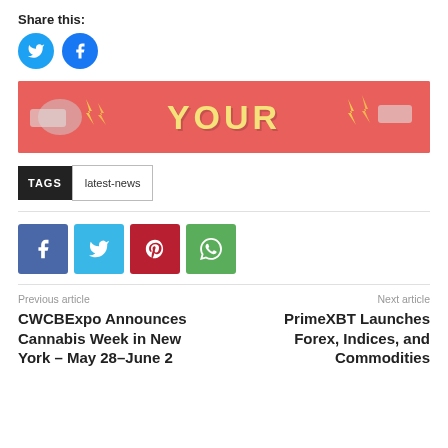Share this:
[Figure (other): Twitter and Facebook circular share buttons]
[Figure (other): Promotional banner with coral/red background showing megaphones and the word YOUR in yellow text]
TAGS  latest-news
[Figure (other): Social share square buttons: Facebook (blue), Twitter (light blue), Pinterest (red), WhatsApp (green)]
Previous article
Next article
CWCBExpo Announces Cannabis Week in New York – May 28–June 2
PrimeXBT Launches Forex, Indices, and Commodities